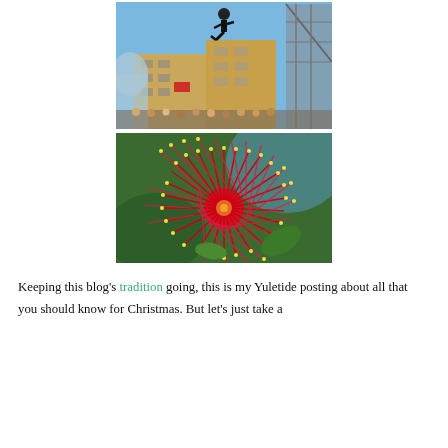[Figure (photo): Person jumping/diving in the air above a crowd in front of a large tan/yellow modern building with glass and metal scaffolding structure on the right. Blue sky. Crowd of spectators below.]
[Figure (photo): Close-up macro photo of a bright red pohutukawa flower with yellow-tipped stamens and green leaves, against a blurred background.]
Keeping this blog's tradition going, this is my Yuletide posting about all that you should know for Christmas. But let's just take a